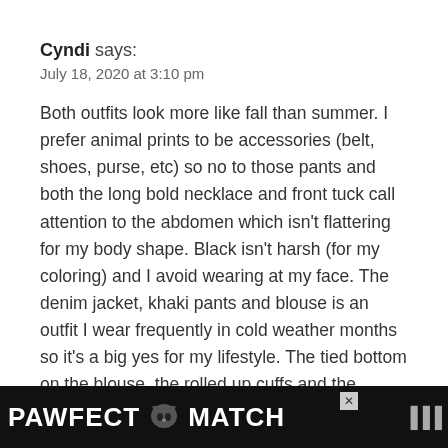Cyndi says:
July 18, 2020 at 3:10 pm
Both outfits look more like fall than summer. I prefer animal prints to be accessories (belt, shoes, purse, etc) so no to those pants and both the long bold necklace and front tuck call attention to the abdomen which isn't flattering for my body shape. Black isn't harsh (for my coloring) and I avoid wearing at my face. The denim jacket, khaki pants and blouse is an outfit I wear frequently in cold weather months so it's a big yes for my lifestyle. The tied bottom on the blouse, the rolled up cuffs and the bracelets give it a fresh look. Thanks for sharing your meal of the week a
[Figure (infographic): PAWFECT MATCH advertisement banner with cat image at bottom of page]